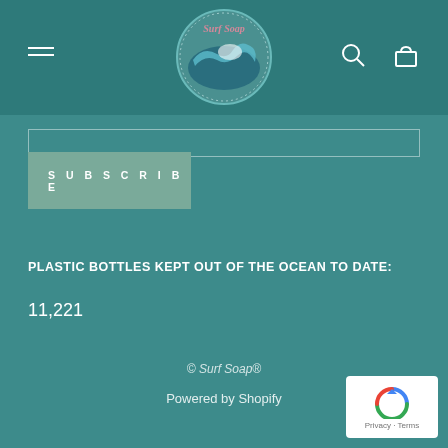[Figure (logo): Surf Soap circular logo with wave illustration and script text on teal background header]
SUBSCRIBE
PLASTIC BOTTLES KEPT OUT OF THE OCEAN TO DATE:
11,221
© Surf Soap®
Powered by Shopify